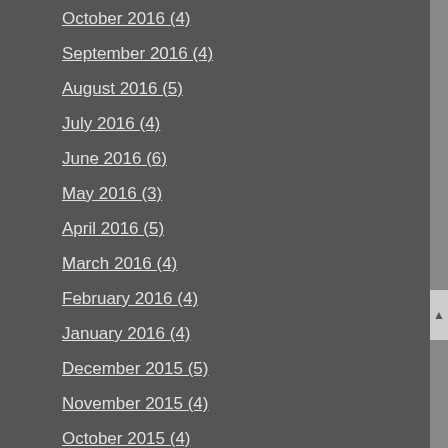October 2016 (4)
September 2016 (4)
August 2016 (5)
July 2016 (4)
June 2016 (6)
May 2016 (3)
April 2016 (5)
March 2016 (4)
February 2016 (4)
January 2016 (4)
December 2015 (5)
November 2015 (4)
October 2015 (4)
September 2015 (5)